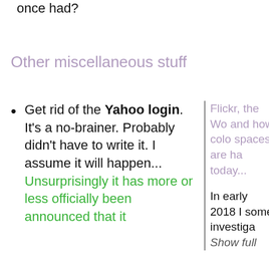once had?
Other miscellaneous stuff
Get rid of the Yahoo login. It's a no-brainer. Probably didn't have to write it. I assume it will happen... Unsurprisingly it has more or less officially been announced that it
Flickr, the Wo and how colo spaces are ha today...
In early 2018 I some investiga
Show full